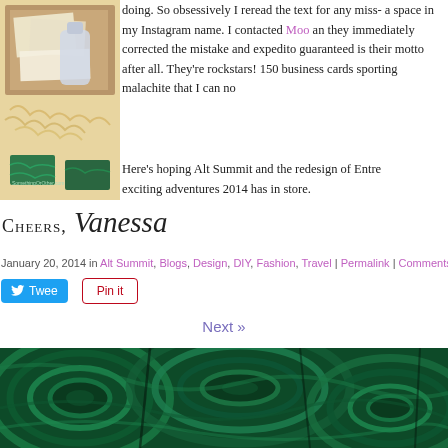[Figure (photo): Photo of business cards and packaging materials on a table, with malachite-patterned business cards visible]
doing. So obsessively I reread the text for any miss- a space in my Instagram name. I contacted Moo and they immediately corrected the mistake and expedito guaranteed is their motto after all. They're rockstars! 150 business cards sporting malachite that I can no
Here's hoping Alt Summit and the redesign of Entre exciting adventures 2014 has in store.
Cheers, Vanessa
January 20, 2014 in Alt Summit, Blogs, Design, DIY, Fashion, Travel | Permalink | Comments (0)
Next »
[Figure (photo): Close-up photo of malachite stone with distinctive green swirling patterns]